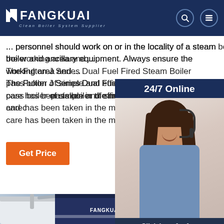FANGKUAI — Clean Boiler System Supplier
... personnel should work on or in the locality of a steam boiler and ancillary equipment. Always ensure the working area and ... The Fulton J Series Dual Fuel Fired Steam Boiler is a vertical two pass boiler of simple and efficient design and co... care has been taken in the manufacture ...
[Figure (photo): Customer service representative (woman with headset) with 24/7 Online label and Click here for free chat / QUOTATION button overlay]
[Figure (photo): FANGKUAI industrial steam boiler equipment in a factory setting, showing large white and blue boiler units with piping and the FANGKUAI logo on the side. A TOP navigation icon is visible in the lower right.]